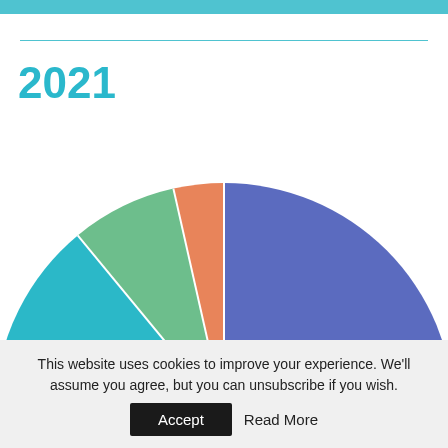2021
[Figure (pie-chart): Half-donut/semi-circle pie chart showing 5 segments: large blue-purple segment (~50%), teal segment (~25%), green segment (~15%), orange-salmon segment (~7%), small dark segment (~3%).]
This website uses cookies to improve your experience. We'll assume you agree, but you can unsubscribe if you wish.